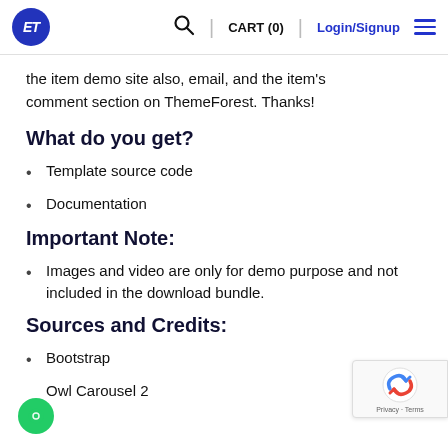ET | CART (0) | Login/Signup
the item demo site also, email, and the item's comment section on ThemeForest. Thanks!
What do you get?
Template source code
Documentation
Important Note:
Images and video are only for demo purpose and not included in the download bundle.
Sources and Credits:
Bootstrap
Owl Carousel 2